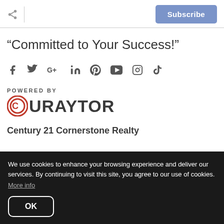Subscribe
“Committed to Your Success!”
[Figure (other): Row of social media icons: Facebook, Twitter, Google+, LinkedIn, Pinterest, YouTube, Instagram, TikTok]
POWERED BY
[Figure (logo): Curaytor logo with red C icon and bold dark text CURAYTOR]
Century 21 Cornerstone Realty
We use cookies to enhance your browsing experience and deliver our services. By continuing to visit this site, you agree to our use of cookies. More info
OK